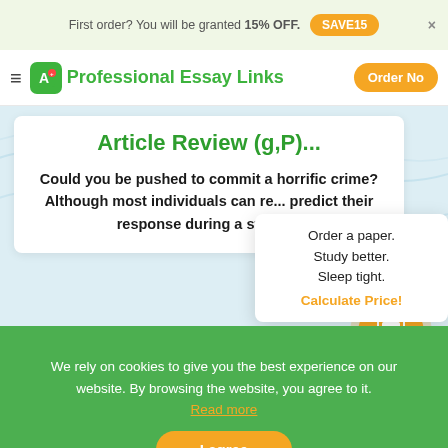First order? You will be granted 15% OFF.  SAVE15  ×
Professional Essay Links
Article Review (g,P)...
Could you be pushed to commit a horrific crime? Although most individuals can re... predict their response during a stress...
Order a paper. Study better. Sleep tight. Calculate Price!
We rely on cookies to give you the best experience on our website. By browsing the website, you agree to it. Read more
I agree